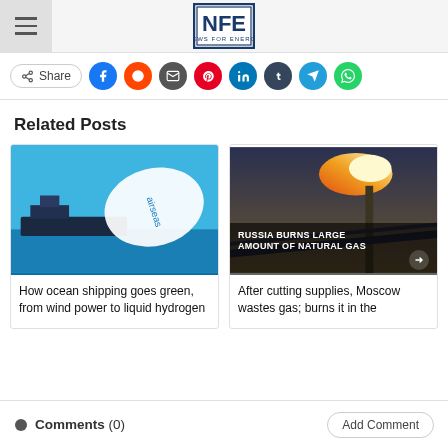NFE News For Energy
[Figure (other): Social share bar with Share button and social media icons: Facebook, Reddit, Email, Pinterest, LinkedIn, Tumblr, Telegram, WhatsApp]
Related Posts
[Figure (photo): Photo of the Airseas wind sail kite above an ocean-going cargo ship on blue water]
How ocean shipping goes green, from wind power to liquid hydrogen
[Figure (photo): Photo of a gas flare torch burning against a twilight sky with text overlay: RUSSIA BURNS LARGE AMOUNT OF NATURAL GAS]
After cutting supplies, Moscow wastes gas; burns it in the
Comments (0)
Add Comment